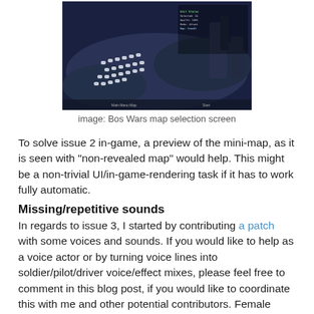[Figure (screenshot): Bos Wars map selection screen showing a top-down view of a snowy/dark terrain with numerous white military units arranged in formation, with a UI overlay including text and minimap elements.]
image: Bos Wars map selection screen
To solve issue 2 in-game, a preview of the mini-map, as it is seen with "non-revealed map" would help. This might be a non-trivial UI/in-game-rendering task if it has to work fully automatic.
Missing/repetitive sounds
In regards to issue 3, I started by contributing a patch with some voices and sounds. If you would like to help as a voice actor or by turning voice lines into soldier/pilot/driver voice/effect mixes, please feel free to comment in this blog post, if you would like to coordinate this with me and other potential contributors. Female voices are especially welcome (source).